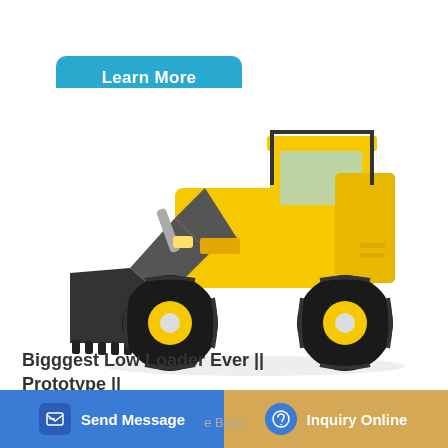Learn More
[Figure (photo): Large yellow wheel loader / front-end loader with dark bucket, black tires with yellow rims, and enclosed cab, photographed on white background.]
Bigggest Low Loader Ever || Prototype || Mining Mods
Send Message
Inquiry Online
e Back